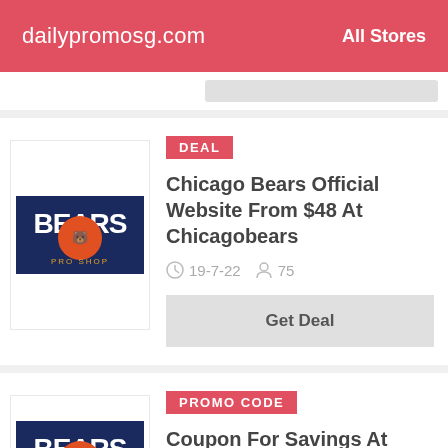dailypromosg.com   All Stores
[Figure (screenshot): Partially visible card with a gray button at top of page]
[Figure (photo): Chicago Bears Pro Shop logo]
DEAL
Chicago Bears Official Website From $48 At Chicagobears
19-7-22   75
Get Deal
[Figure (photo): Chicago Bears Pro Shop logo (second listing)]
PROMO CODE
Coupon For Savings At Chicago Bears
12-8-22   89